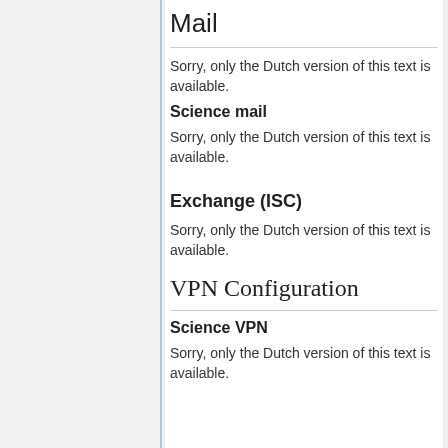Mail
Sorry, only the Dutch version of this text is available.
Science mail
Sorry, only the Dutch version of this text is available.
Exchange (ISC)
Sorry, only the Dutch version of this text is available.
VPN Configuration
Science VPN
Sorry, only the Dutch version of this text is available.